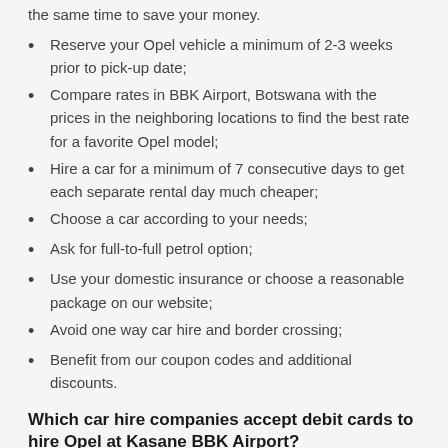the same time to save your money.
Reserve your Opel vehicle a minimum of 2-3 weeks prior to pick-up date;
Compare rates in BBK Airport, Botswana with the prices in the neighboring locations to find the best rate for a favorite Opel model;
Hire a car for a minimum of 7 consecutive days to get each separate rental day much cheaper;
Choose a car according to your needs;
Ask for full-to-full petrol option;
Use your domestic insurance or choose a reasonable package on our website;
Avoid one way car hire and border crossing;
Benefit from our coupon codes and additional discounts.
Which car hire companies accept debit cards to hire Opel at Kasane BBK Airport?
You can always pay the cost of your Opel car hire with a debit card on our website, but almost every car hire provider requires a credit card deposit, which is needed to